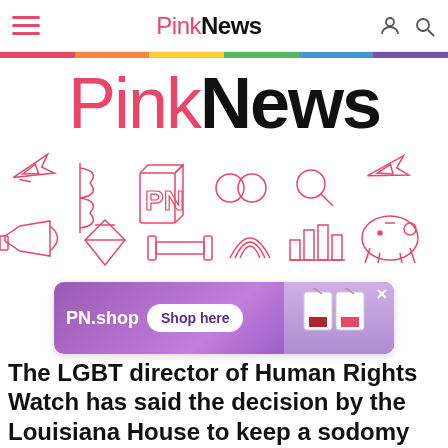PinkNews
[Figure (illustration): PinkNews large logo with pink 'Pink' and black 'News' text]
[Figure (illustration): Decorative pink outline icons including airplanes, flag, PN logo block, rings, magnifying glass, megaphone, diamond, barbell, rainbow, chart, piggy bank]
[Figure (infographic): PN.shop advertisement banner with purple gradient background, Shop here button, and product image]
The LGBT director of Human Rights Watch has said the decision by the Louisiana House to keep a sodomy law is 'a startling act of state-endorsed homophobia'